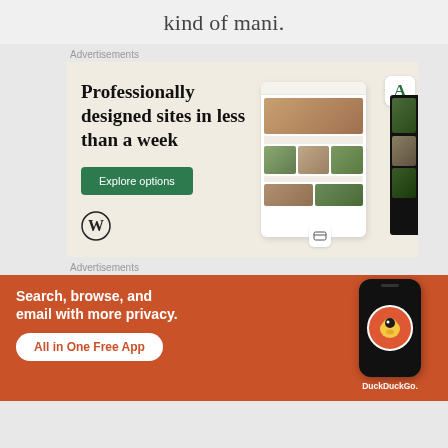kind of mani.
Advertisements
[Figure (illustration): WordPress advertisement: 'Professionally designed sites in less than a week' with Explore options button, WordPress logo, and website/app mockup screenshots on beige background]
Advertisements
[Figure (illustration): DuckDuckGo advertisement on orange/red background: 'Search, browse, and email with more privacy. All in One Free App' with DuckDuckGo logo on phone mockup]